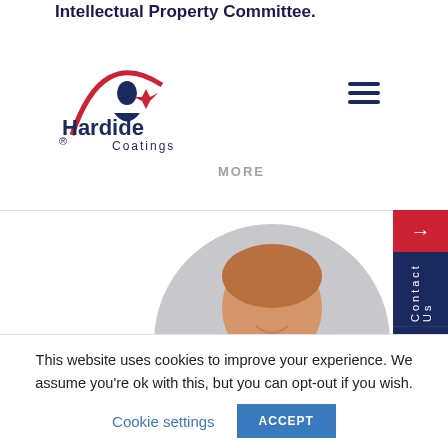Intellectual Property Committee.
[Figure (logo): Hardide Coatings logo with red arc and figure icon, dark navy text]
MORE
[Figure (photo): Circular headshot of a smiling middle-aged man with grey/auburn hair wearing a dark blazer and light blue shirt, against a light grey background]
This website uses cookies to improve your experience. We assume you're ok with this, but you can opt-out if you wish.
Cookie settings
ACCEPT